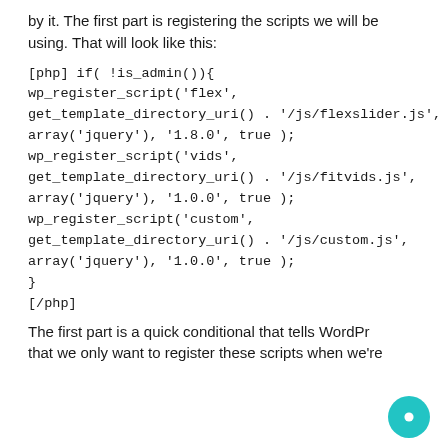by it. The first part is registering the scripts we will be using. That will look like this:
[php] if( !is_admin()){
wp_register_script('flex',
get_template_directory_uri() . '/js/flexslider.js',
array('jquery'), '1.8.0', true );
wp_register_script('vids',
get_template_directory_uri() . '/js/fitvids.js',
array('jquery'), '1.0.0', true );
wp_register_script('custom',
get_template_directory_uri() . '/js/custom.js',
array('jquery'), '1.0.0', true );
}
[/php]
The first part is a quick conditional that tells WordPress that we only want to register these scripts when we're